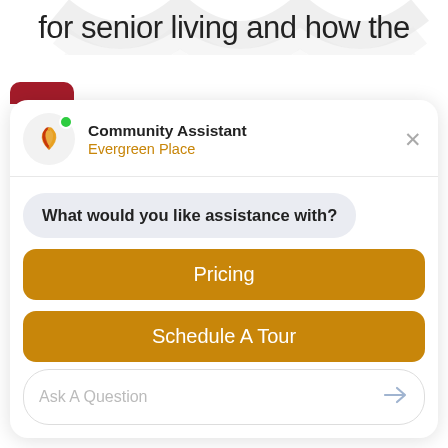for senior living and how the
[Figure (screenshot): Chat widget for 'Community Assistant - Evergreen Place' with a logo avatar, showing a chatbot UI with message 'What would you like assistance with?' and three golden buttons: Pricing, Schedule A Tour, Show More, plus an input field 'Ask A Question']
Community Assistant
Evergreen Place
What would you like assistance with?
Pricing
Schedule A Tour
Show More
Ask A Question